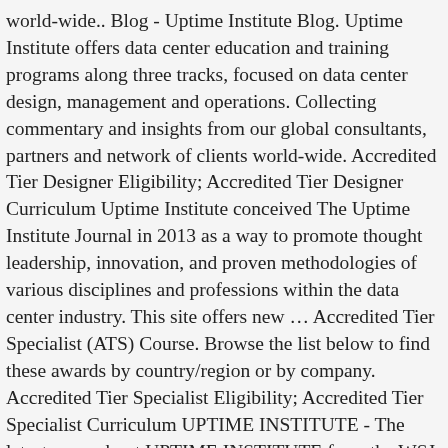world-wide.. Blog - Uptime Institute Blog. Uptime Institute offers data center education and training programs along three tracks, focused on data center design, management and operations. Collecting commentary and insights from our global consultants, partners and network of clients world-wide. Accredited Tier Designer Eligibility; Accredited Tier Designer Curriculum Uptime Institute conceived The Uptime Institute Journal in 2013 as a way to promote thought leadership, innovation, and proven methodologies of various disciplines and professions within the data center industry. This site offers new … Accredited Tier Specialist (ATS) Course. Browse the list below to find these awards by country/region or by company. Accredited Tier Specialist Eligibility; Accredited Tier Specialist Curriculum UPTIME INSTITUTE - The latest news about UPTIME INSTITUTE from the WSJ CIO Journal. Uptime Institute is the global authority for setting and assessing data center and other critical infrastructure performance, efficiency and resiliency standards. Last update was 228 days ago UPDATE NOW. Kalny, located in It provides a thorough, unbiased assessment of a site, including achievements, risks, and determination of the 'most likely' Tier